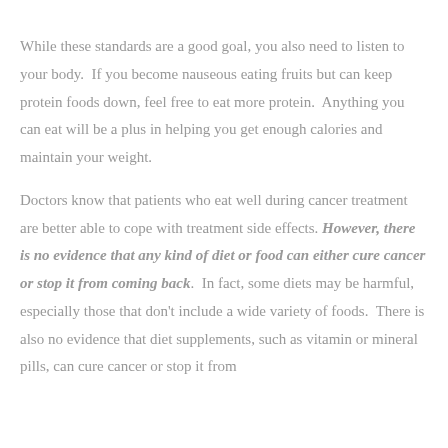While these standards are a good goal, you also need to listen to your body. If you become nauseous eating fruits but can keep protein foods down, feel free to eat more protein. Anything you can eat will be a plus in helping you get enough calories and maintain your weight.
Doctors know that patients who eat well during cancer treatment are better able to cope with treatment side effects. However, there is no evidence that any kind of diet or food can either cure cancer or stop it from coming back. In fact, some diets may be harmful, especially those that don't include a wide variety of foods. There is also no evidence that diet supplements, such as vitamin or mineral pills, can cure cancer or stop it from